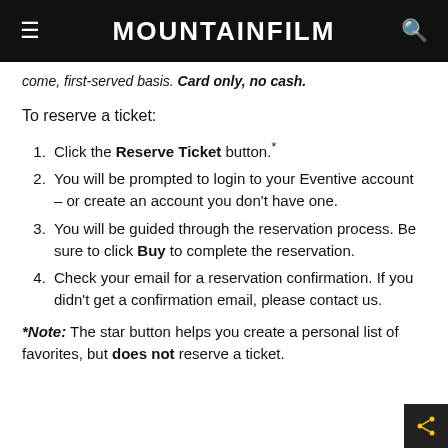MOUNTAINFILM
come, first-served basis. Card only, no cash.
To reserve a ticket:
Click the Reserve Ticket button.*
You will be prompted to login to your Eventive account – or create an account you don't have one.
You will be guided through the reservation process. Be sure to click Buy to complete the reservation.
Check your email for a reservation confirmation. If you didn't get a confirmation email, please contact us.
*Note: The star button helps you create a personal list of favorites, but does not reserve a ticket.